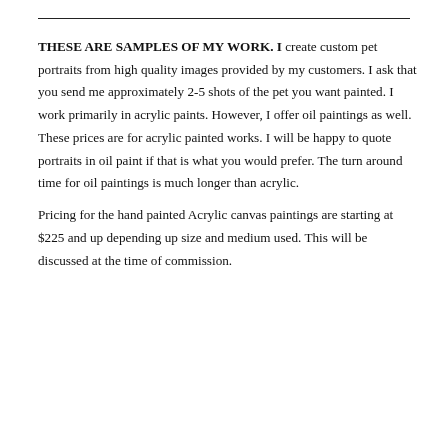THESE ARE SAMPLES OF MY WORK.  I create custom pet portraits from high quality images provided by my customers.  I ask that you send me approximately 2-5 shots of the pet you want painted.  I work primarily in acrylic paints.  However, I offer oil paintings as well.  These prices are for acrylic painted works.  I will be happy to quote portraits in oil paint if that is what you would prefer.   The turn around time for oil paintings is much longer than acrylic.
Pricing for the hand painted Acrylic canvas paintings are starting at $225 and up depending up size and medium used.  This will be discussed at the time of commission.